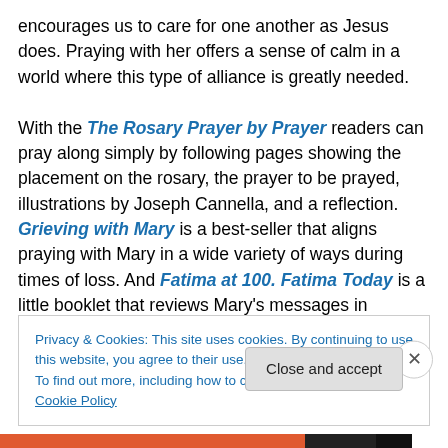encourages us to care for one another as Jesus does. Praying with her offers a sense of calm in a world where this type of alliance is greatly needed.

With the The Rosary Prayer by Prayer readers can pray along simply by following pages showing the placement on the rosary, the prayer to be prayed, illustrations by Joseph Cannella, and a reflection. Grieving with Mary is a best-seller that aligns praying with Mary in a wide variety of ways during times of loss. And Fatima at 100. Fatima Today is a little booklet that reviews Mary's messages in
Privacy & Cookies: This site uses cookies. By continuing to use this website, you agree to their use.
To find out more, including how to control cookies, see here: Cookie Policy